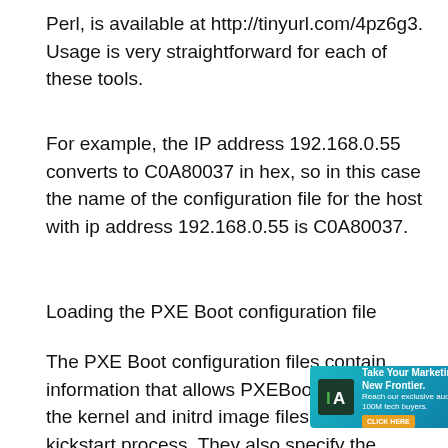Perl, is available at http://tinyurl.com/4pz6g3. Usage is very straightforward for each of these tools.
For example, the IP address 192.168.0.55 converts to C0A80037 in hex, so in this case the name of the configuration file for the host with ip address 192.168.0.55 is C0A80037.
Loading the PXE Boot configuration file
The PXE Boot configuration files contain information that allows PXEBoot to locate the kernel and initrd image files for the kickstart process. They also specify the serial console parameters and provide a menu for selection of the desired kickstart. The kernel and initrd image files for the kickstart process are stored in the kickstart...
[Figure (other): Advertisement overlay: 'Take Your Marketing To A New Frontier. Reach our exclusive audience of 100M tech buyers.' with a CTA button and photos of two people.]